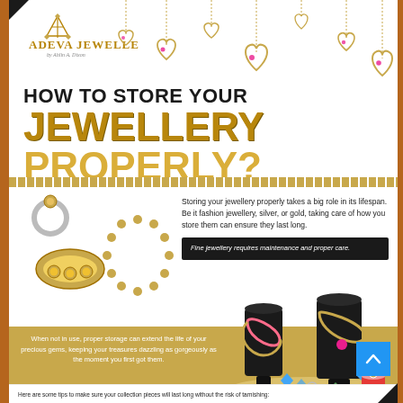[Figure (logo): Adeva Jewellery logo with crown/diamond motif above text]
[Figure (illustration): Decorative hanging golden heart pendants on chains across the top of the page]
HOW TO STORE YOUR JEWELLERY PROPERLY?
[Figure (illustration): Gold and silver jewellery items: ring, bracelet cuff, necklace bead strand]
Storing your jewellery properly takes a big role in its lifespan. Be it fashion jewellery, silver, or gold, taking care of how you store them can ensure they last long.
Fine jewellery requires maintenance and proper care.
[Figure (illustration): Jewelry display with necklaces on stands and gems/bracelet on a surface]
When not in use, proper storage can extend the life of your precious gems, keeping your treasures dazzling as gorgeously as the moment you first got them.
Here are some tips to make sure your collection pieces will last long without the risk of tarnishing: